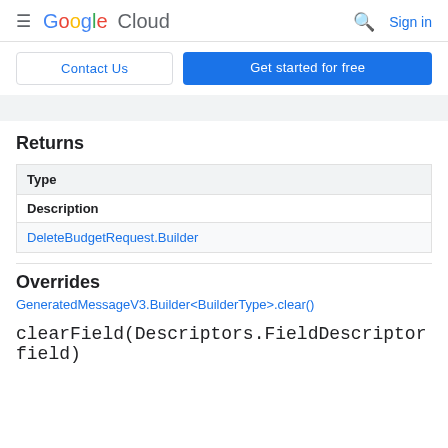Google Cloud  Sign in
Contact Us  Get started for free
Returns
| Type |
| --- |
| Description |
| DeleteBudgetRequest.Builder |
Overrides
GeneratedMessageV3.Builder<BuilderType>.clear()
clearField(Descriptors.FieldDescriptor field)